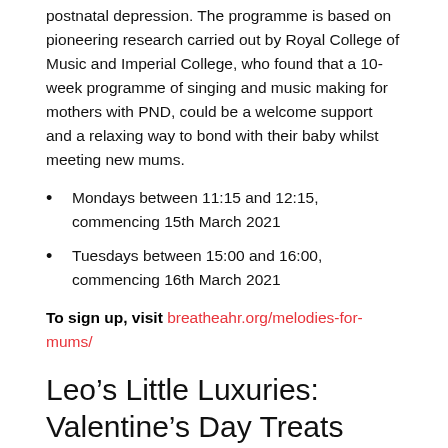postnatal depression. The programme is based on pioneering research carried out by Royal College of Music and Imperial College, who found that a 10-week programme of singing and music making for mothers with PND, could be a welcome support and a relaxing way to bond with their baby whilst meeting new mums.
Mondays between 11:15 and 12:15, commencing 15th March 2021
Tuesdays between 15:00 and 16:00, commencing 16th March 2021
To sign up, visit breatheahr.org/melodies-for-mums/
Leo’s Little Luxuries: Valentine’s Day Treats
It’s already February and I am always a sucker for